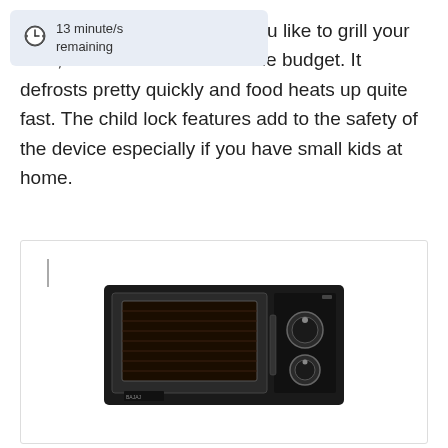13 minute/s remaining
you like to grill your food, this is the machine in the budget. It defrosts pretty quickly and food heats up quite fast. The child lock features add to the safety of the device especially if you have small kids at home.
[Figure (photo): A black microwave oven with a glass door and two rotary knobs on the right side, shown against a white background inside a bordered box.]